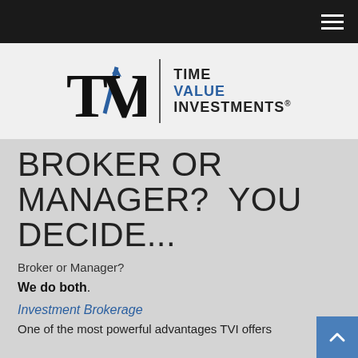Navigation bar with hamburger menu
[Figure (logo): TVI Time Value Investments logo with large serif TVI letters and blue diagonal arrow, vertical divider, and company name in two colors]
BROKER OR MANAGER?  YOU DECIDE...
Broker or Manager?
We do both.
Investment Brokerage
One of the most powerful advantages TVI offers